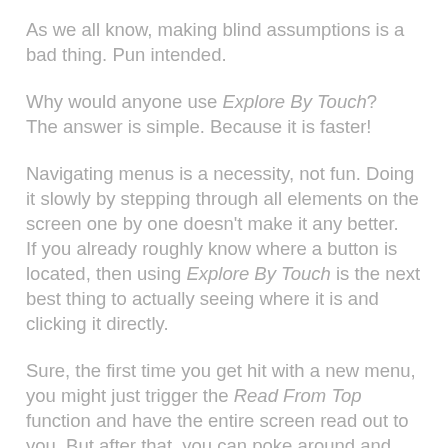As we all know, making blind assumptions is a bad thing. Pun intended.
Why would anyone use Explore By Touch? The answer is simple. Because it is faster!
Navigating menus is a necessity, not fun. Doing it slowly by stepping through all elements on the screen one by one doesn't make it any better. If you already roughly know where a button is located, then using Explore By Touch is the next best thing to actually seeing where it is and clicking it directly.
Sure, the first time you get hit with a new menu, you might just trigger the Read From Top function and have the entire screen read out to you. But after that, you can poke around and find out where things are. And being blind doesn't mean you cannot remember roughly where a button is located on the screen.